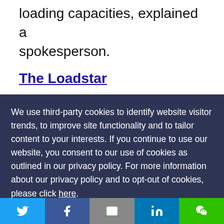loading capacities, explained a spokesperson.
The Loadstar
We use third-party cookies to identify website visitor trends, to improve site functionality and to tailor content to your interests. If you continue to use our website, you consent to our use of cookies as outlined in our privacy policy. For more information about our privacy policy and to opt-out of cookies, please click here.
ACCEPT →
Twitter | Facebook | Email | LinkedIn | WeChat